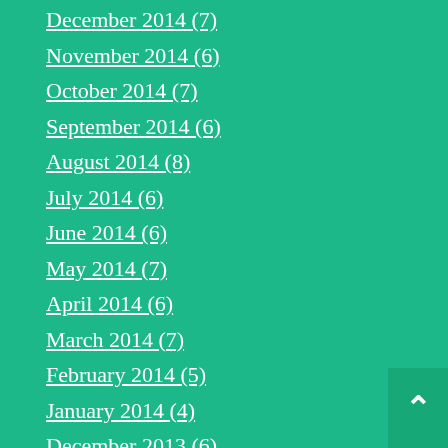December 2014 (7)
November 2014 (6)
October 2014 (7)
September 2014 (6)
August 2014 (8)
July 2014 (6)
June 2014 (6)
May 2014 (7)
April 2014 (6)
March 2014 (7)
February 2014 (5)
January 2014 (4)
December 2013 (6)
November 2013 (5)
October 2013 (4)
September 2013 (4)
August 2013 (4)